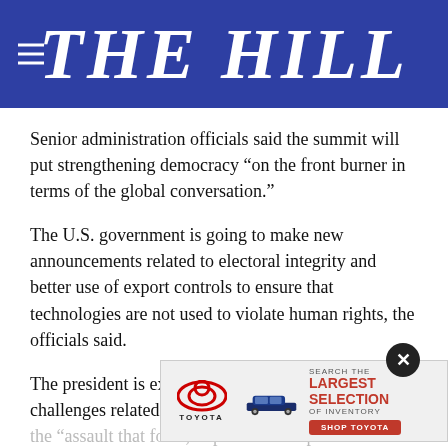THE HILL
Senior administration officials said the summit will put strengthening democracy “on the front burner in terms of the global conversation.”
The U.S. government is going to make new announcements related to electoral integrity and better use of export controls to ensure that technologies are not used to violate human rights, the officials said.
The president is expected to speak about the challenges related to voting rights within the U.S. and the “assault that folks, in particular Republi… legisla… count…
[Figure (advertisement): Toyota advertisement showing a car and text: SEARCH THE LARGEST SELECTION OF INVENTORY, SHOP TOYOTA]